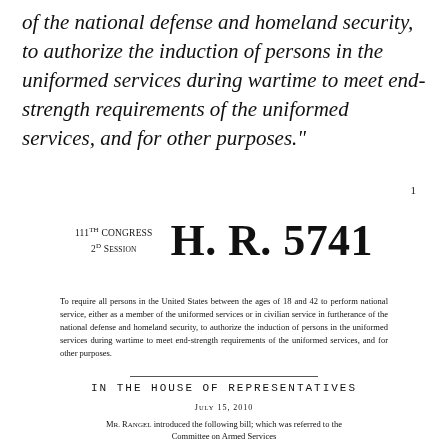of the national defense and homeland security, to authorize the induction of persons in the uniformed services during wartime to meet end-strength requirements of the uniformed services, and for other purposes."
1
111TH CONGRESS 2D SESSION  H. R. 5741
To require all persons in the United States between the ages of 18 and 42 to perform national service, either as a member of the uniformed services or in civilian service in furtherance of the national defense and homeland security, to authorize the induction of persons in the uniformed services during wartime to meet end-strength requirements of the uniformed services, and for other purposes.
IN THE HOUSE OF REPRESENTATIVES
JULY 15, 2010
Mr. RANGEL introduced the following bill; which was referred to the Committee on Armed Services